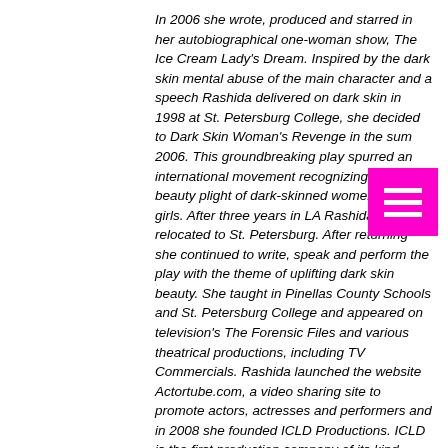In 2006 she wrote, produced and starred in her autobiographical one-woman show, The Ice Cream Lady's Dream. Inspired by the dark skin mental abuse of the main character and a speech Rashida delivered on dark skin in 1998 at St. Petersburg College, she decided to Dark Skin Woman's Revenge in the sum 2006. This groundbreaking play spurred an international movement recognizing the beauty plight of dark-skinned women and girls. After three years in LA Rashida relocated to St. Petersburg. After returning she continued to write, speak and perform the play with the theme of uplifting dark skin beauty. She taught in Pinellas County Schools and St. Petersburg College and appeared on television's The Forensic Files and various theatrical productions, including TV Commercials. Rashida launched the website Actortube.com, a video sharing site to promote actors, actresses and performers and in 2008 she founded ICLD Productions. ICLD is the first production company of its kind, producing plays specifically about the dark-skinned female experience. Since 2006, Rashida has been performing as 5